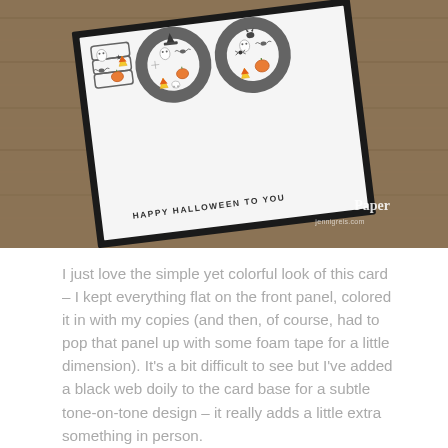[Figure (photo): A Halloween greeting card with 'BOO' letters filled with colorful Halloween icons (ghosts, pumpkins, bats, candy corn, witches) and text 'HAPPY HALLOWEEN TO YOU', tilted at an angle on a wooden surface background. A 'Paperlovely' watermark appears in the lower right.]
I just love the simple yet colorful look of this card – I kept everything flat on the front panel, colored it in with my copies (and then, of course, had to pop that panel up with some foam tape for a little dimension). It's a bit difficult to see but I've added a black web doily to the card base for a subtle tone-on-tone design – it really adds a little extra something in person.